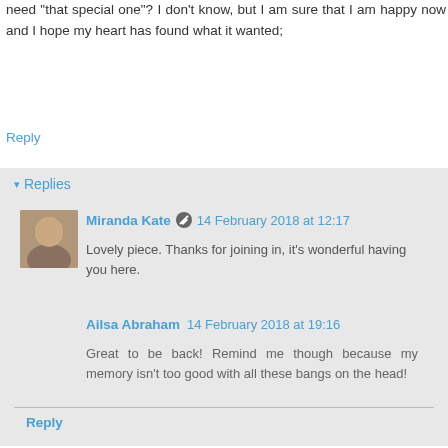Was my heart defective? Am I the only one who does not need "that special one"? I don't know, but I am sure that I am happy now and I hope my heart has found what it wanted;
Reply
Replies
Miranda Kate  14 February 2018 at 12:17
Lovely piece. Thanks for joining in, it's wonderful having you here.
Ailsa Abraham  14 February 2018 at 19:16
Great to be back! Remind me though because my memory isn't too good with all these bangs on the head!
Reply